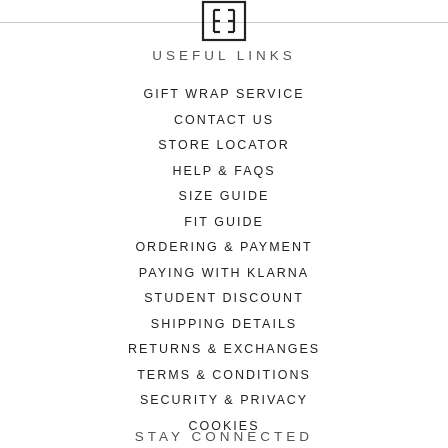[Figure (logo): Brand logo with stylized letters inside a square bracket design]
USEFUL LINKS
GIFT WRAP SERVICE
CONTACT US
STORE LOCATOR
HELP & FAQS
SIZE GUIDE
FIT GUIDE
ORDERING & PAYMENT
PAYING WITH KLARNA
STUDENT DISCOUNT
SHIPPING DETAILS
RETURNS & EXCHANGES
TERMS & CONDITIONS
SECURITY & PRIVACY
COOKIES
STAY CONNECTED